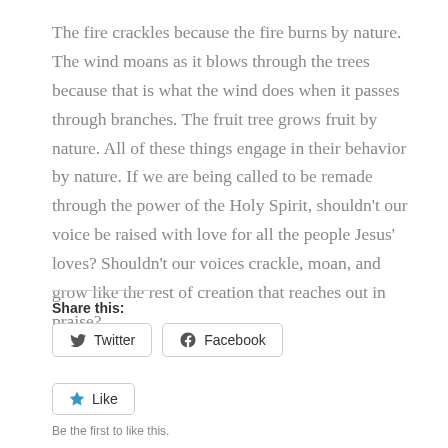The fire crackles because the fire burns by nature. The wind moans as it blows through the trees because that is what the wind does when it passes through branches. The fruit tree grows fruit by nature. All of these things engage in their behavior by nature. If we are being called to be remade through the power of the Holy Spirit, shouldn't our voice be raised with love for all the people Jesus' loves? Shouldn't our voices crackle, moan, and grow like the rest of creation that reaches out in praise?
Share this:
Twitter
Facebook
Like
Be the first to like this.